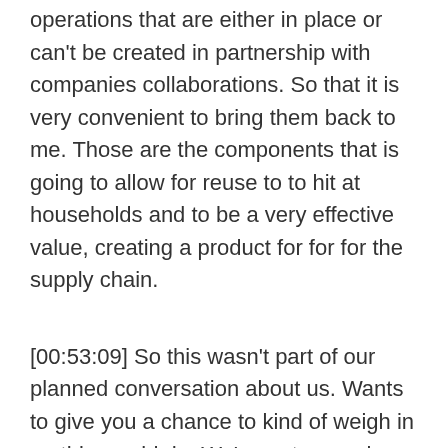operations that are either in place or can't be created in partnership with companies collaborations. So that it is very convenient to bring them back to me. Those are the components that is going to allow for reuse to to hit at households and to be a very effective value, creating a product for for for the supply chain.
[00:53:09] So this wasn't part of our planned conversation about us. Wants to give you a chance to kind of weigh in on this would do. We've got a regular